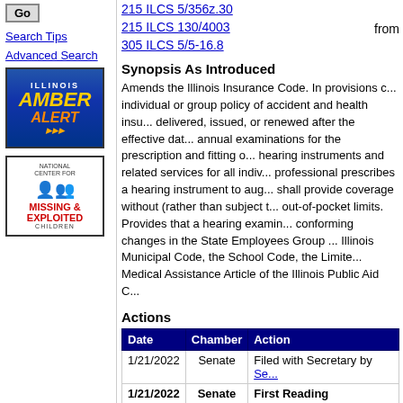Go (button)
Search Tips
Advanced Search
[Figure (illustration): Illinois Amber Alert logo — blue background with yellow AMBER and orange ALERT text]
[Figure (illustration): National Center for Missing & Exploited Children logo]
215 ILCS 5/356z.30
215 ILCS 130/4003
305 ILCS 5/5-16.8
from
Synopsis As Introduced
Amends the Illinois Insurance Code. In provisions concerning individual or group policy of accident and health insurance delivered, issued, or renewed after the effective date, annual examinations for the prescription and fitting of hearing instruments and related services for all indiv... professional prescribes a hearing instrument to aug... shall provide coverage without (rather than subject to) out-of-pocket limits. Provides that a hearing examin... conforming changes in the State Employees Group ... Illinois Municipal Code, the School Code, the Limite... Medical Assistance Article of the Illinois Public Aid C...
Actions
| Date | Chamber | Action |
| --- | --- | --- |
| 1/21/2022 | Senate | Filed with Secretary by Se... |
| 1/21/2022 | Senate | First Reading |
| 1/21/2022 | Senate | Referred to Assignments |
| 2/1/2022 | Senate | Assigned to Insurance |
| 2/10/2022 | Senate | To Insurance Mandates |
| 2/10/2022 | Senate | Rule 3-9(a) / Re-referred... |